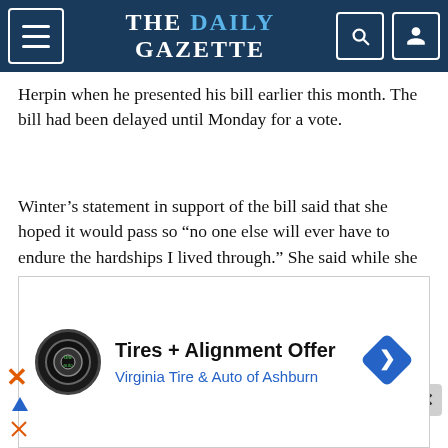THE DAILY GAZETTE
Herpin when he presented his bill earlier this month. The bill had been delayed until Monday for a vote.
Winter's statement in support of the bill said that she hoped it would pass so “no one else will ever have to endure the hardships I lived through.” She said while she faced her subpoena, sources stopped talking to her and she received harassing phone calls and threatening Internet postings.
Democratic Sen. Lucia Guzman, who voted
[Figure (screenshot): Advertisement banner: Tires + Alignment Offer by Virginia Tire & Auto of Ashburn]